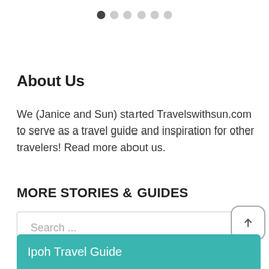[Figure (other): Carousel pagination dots: one filled dark dot followed by five empty light gray dots]
About Us
We (Janice and Sun) started Travelswithsun.com to serve as a travel guide and inspiration for other travelers! Read more about us.
MORE STORIES & GUIDES
Search ...
Ipoh Travel Guide